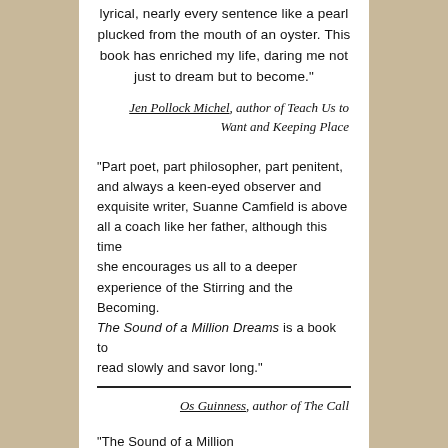lyrical, nearly every sentence like a pearl plucked from the mouth of an oyster. This book has enriched my life, daring me not just to dream but to become."
Jen Pollock Michel, author of Teach Us to Want and Keeping Place
"Part poet, part philosopher, part penitent, and always a keen-eyed observer and exquisite writer, Suanne Camfield is above all a coach like her father, although this time she encourages us all to a deeper experience of the Stirring and the Becoming. The Sound of a Million Dreams is a book to read slowly and savor long."
Os Guinness, author of The Call
“The Sound of a Million Dreams simultaneously embraces me right where I am while beautifully beckoning me